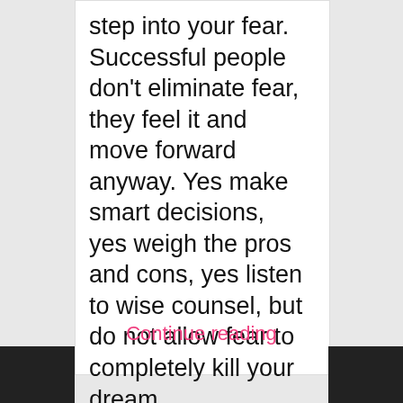step into your fear. Successful people don't eliminate fear, they feel it and move forward anyway. Yes make smart decisions, yes weigh the pros and cons, yes listen to wise counsel, but do not allow fear to completely kill your dream.
Continue reading